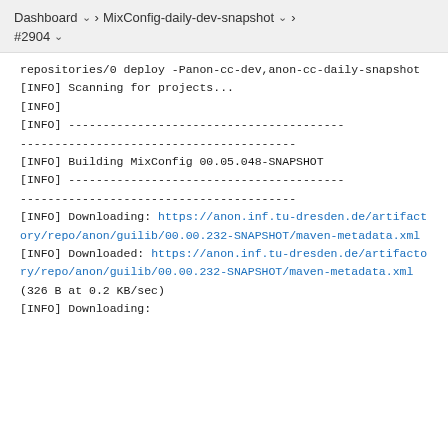Dashboard > MixConfig-daily-dev-snapshot > #2904
repositories/0 deploy -Panon-cc-dev,anon-cc-daily-snapshot
[INFO] Scanning for projects...
[INFO]
[INFO] ------------------------------------------------------------------------
[INFO] Building MixConfig 00.05.048-SNAPSHOT
[INFO] ------------------------------------------------------------------------
[INFO] Downloading: https://anon.inf.tu-dresden.de/artifactory/repo/anon/guilib/00.00.232-SNAPSHOT/maven-metadata.xml
[INFO] Downloaded: https://anon.inf.tu-dresden.de/artifactory/repo/anon/guilib/00.00.232-SNAPSHOT/maven-metadata.xml (326 B at 0.2 KB/sec)
[INFO] Downloading: